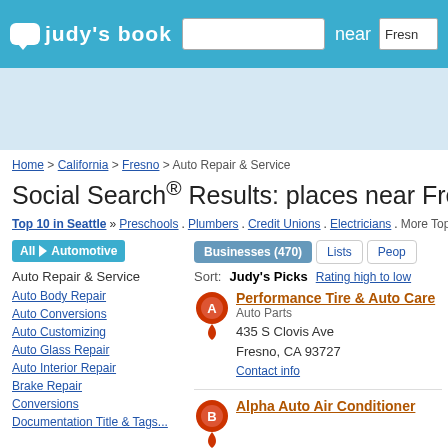[Figure (screenshot): Judy's Book website header with logo, search box, 'near' label, and Fresno location]
[Figure (other): Advertisement banner area (light blue background)]
Home > California > Fresno > Auto Repair & Service
Social Search® Results: places near Fresno, CA (0.03...
Top 10 in Seattle » Preschools . Plumbers . Credit Unions . Electricians . More Top...
All > Automotive
Auto Repair & Service
Auto Body Repair
Auto Conversions
Auto Customizing
Auto Glass Repair
Auto Interior Repair
Brake Repair
Conversions
Documentation Title & Tags...
Businesses (470)  Lists  People
Sort: Judy's Picks  Rating high to low
Performance Tire & Auto Care
Auto Parts
435 S Clovis Ave
Fresno, CA 93727
Contact info
Alpha Auto Air Conditioner